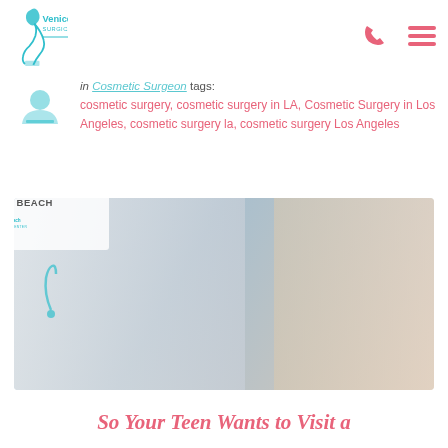Venice Beach Surgical Center
in Cosmetic Surgeon  tags: cosmetic surgery, cosmetic surgery in LA, Cosmetic Surgery in Los Angeles, cosmetic surgery la, cosmetic surgery Los Angeles
[Figure (photo): Doctor in white coat consulting with a patient at a desk with a laptop. Overlay card reads: SO YOUR TEEN WANTS TO VISIT A COSMETIC SURGEON IN VENICE BEACH with Venice Beach Surgical Center logo. Scroll to Top button visible.]
So Your Teen Wants to Visit a